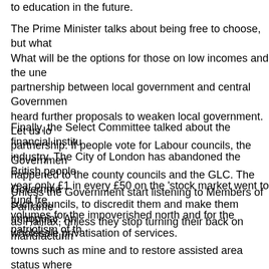to education in the future.
The Prime Minister talks about being free to choose, but what will be the options for those on low incomes and the une partnership between local government and central Government heard further proposals to weaken local government. Let us lo partnership. If people vote for Labour councils, the Government happened to the county councils and the GLC. The Government such councils, to discredit them and make them unpopular. An wholesale privatisation of services.
Finally, the Select Committee talked about the financial institu industry. The City of London has abandoned the British people year only £1 in every £50 on the 'stock market went to fund fre volumes for the impoverished north and for the patriotism of th
Unless the Government start listening to Members of Parliame as Halifax, unless they stop turning their back on manufacturin towns such as mine and to restore assisted area status where look even bleaker for our increasingly divided country. How on tolerate that?